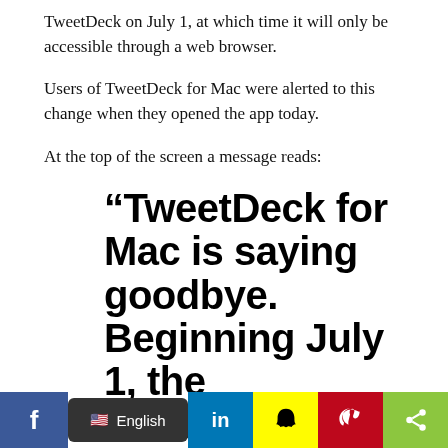TweetDeck on July 1, at which time it will only be accessible through a web browser.
Users of TweetDeck for Mac were alerted to this change when they opened the app today.
At the top of the screen a message reads:
“TweetDeck for Mac is saying goodbye. Beginning July 1, the TweetDeck for Mac application will be removed. You can continue accessing
[Figure (other): Social media sharing bar with Facebook, language selector (English), LinkedIn, Snapchat, Pinterest, and share buttons]